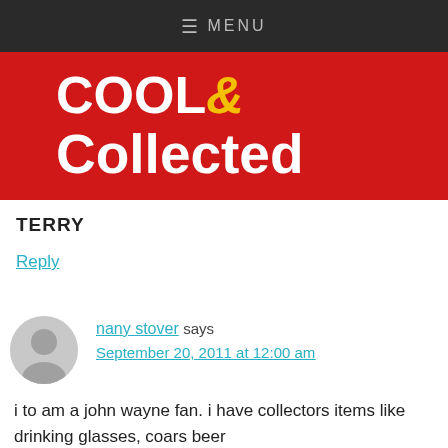≡ MENU
[Figure (logo): Cool & Collected logo on red background. White bold text reading COOL& Collected with ampersand in yellow.]
TERRY
Reply
nany stover says
September 20, 2011 at 12:00 am
i to am a john wayne fan. i have collectors items like drinking glasses, coars beer